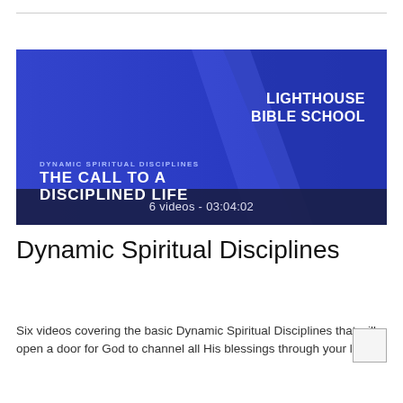[Figure (screenshot): Video thumbnail for Lighthouse Bible School course 'Dynamic Spiritual Disciplines – The Call to a Disciplined Life'. Blue gradient background with diagonal dark blue band. Text reads: LIGHTHOUSE BIBLE SCHOOL, DYNAMIC SPIRITUAL DISCIPLINES, THE CALL TO A DISCIPLINED LIFE. Bottom bar shows: 6 videos - 03:04:02]
Dynamic Spiritual Disciplines
Six videos covering the basic Dynamic Spiritual Disciplines that will open a door for God to channel all His blessings through your life.